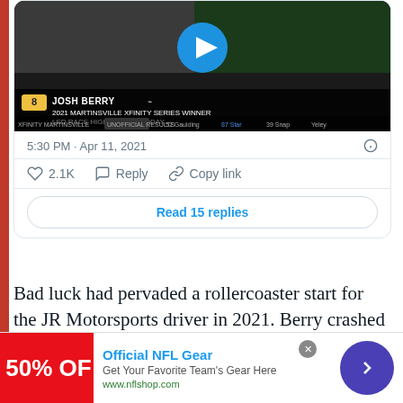[Figure (screenshot): Video thumbnail of Josh Berry - 2021 Martinsville Xfinity Series Winner with play button, showing race broadcast overlay with NASCAR branding]
5:30 PM · Apr 11, 2021
2.1K   Reply   Copy link
Read 15 replies
Bad luck had pervaded a rollercoaster start for the JR Motorsports driver in 2021. Berry crashed out to a 27th-place finish at Daytona before reeling off two straight top-10 finishes. That was followed by another
[Figure (screenshot): Advertisement banner for Official NFL Gear - 50% OFF, Get Your Favorite Team's Gear Here, www.nflshop.com]